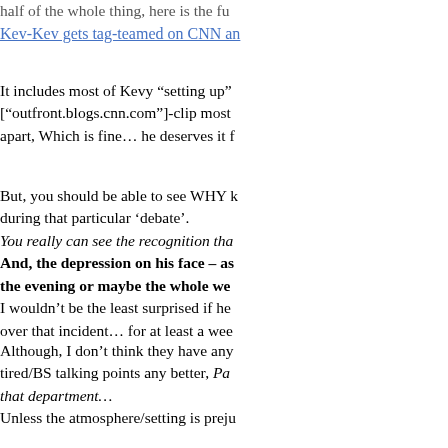half of the whole thing, here is the fu
Kev-Kev gets tag-teamed on CNN an
It includes most of Kevy “setting up” [“outfront.blogs.cnn.com”]-clip most apart, Which is fine… he deserves it f
But, you should be able to see WHY k during that particular ‘debate’. You really can see the recognition tha And, the depression on his face – as the evening or maybe the whole we I wouldn’t be the least surprised if he over that incident… for at least a wee
Although, I don’t think they have any tired/BS talking points any better, Pa that department… Unless the atmosphere/setting is preju